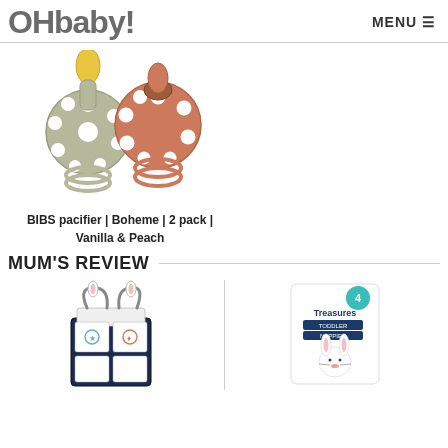OHbaby! MENU
[Figure (photo): Two BIBS pacifiers side by side — one vanilla/beige with yellow round handle and one peach/coral, both with flower-shaped lacy shields]
BIBS pacifier | Boheme | 2 pack | Vanilla & Peach
MUM'S REVIEW
[Figure (photo): Wooden activity cube toy with bunny wire bead maze on top and illustrated panels on sides]
[Figure (photo): Treasures Toddler Nappies size 4 package with bunny illustration]